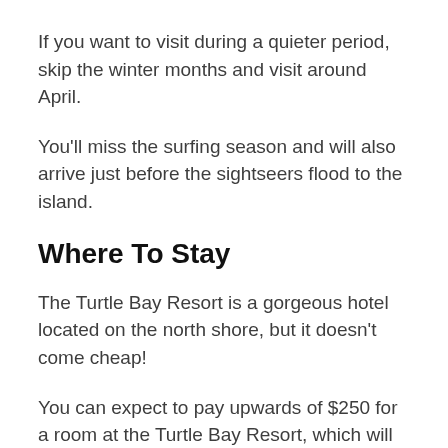If you want to visit during a quieter period, skip the winter months and visit around April.
You'll miss the surfing season and will also arrive just before the sightseers flood to the island.
Where To Stay
The Turtle Bay Resort is a gorgeous hotel located on the north shore, but it doesn't come cheap!
You can expect to pay upwards of $250 for a room at the Turtle Bay Resort, which will price a lot of budget surfers out of the equation.
The cheapest way is to check Airbnb and see what's available.